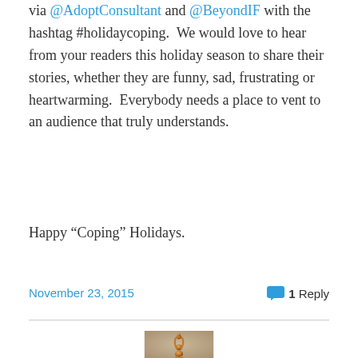via @AdoptConsultant and @BeyondIF with the hashtag #holidaycoping.  We would love to hear from your readers this holiday season to share their stories, whether they are funny, sad, frustrating or heartwarming.  Everybody needs a place to vent to an audience that truly understands.
Happy “Coping” Holidays.
November 23, 2015
1 Reply
[Figure (photo): A golden bronze stylized abstract human figure in a yoga meditation pose with arms raised and hands together overhead, against a warm beige background]